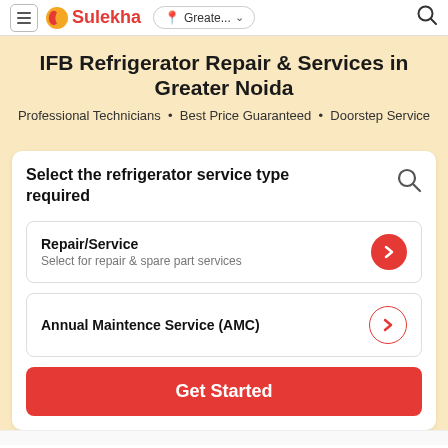≡  Sulekha  📍 Greate... ∨  🔍
IFB Refrigerator Repair & Services in Greater Noida
Professional Technicians • Best Price Guaranteed • Doorstep Service
Select the refrigerator service type required
Repair/Service — Select for repair & spare part services
Annual Maintence Service (AMC)
Get Started